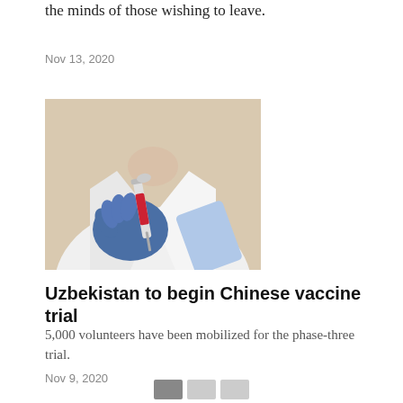the minds of those wishing to leave.
Nov 13, 2020
[Figure (photo): A person in a white lab coat and blue medical gloves holding a syringe with a red barrel, against a beige background.]
Uzbekistan to begin Chinese vaccine trial
5,000 volunteers have been mobilized for the phase-three trial.
Nov 9, 2020